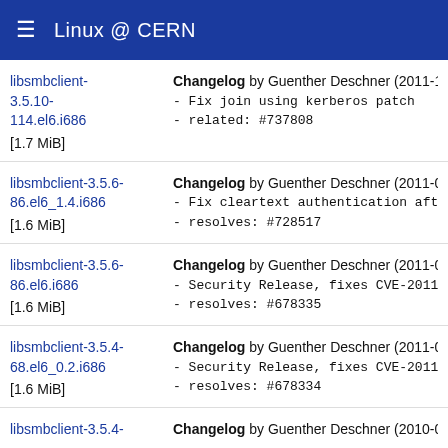Linux @ CERN
libsmbclient-3.5.10-114.el6.i686 [1.7 MiB] Changelog by Guenther Deschner (2011-10-26): - Fix join using kerberos patch - related: #737808
libsmbclient-3.5.6-86.el6_1.4.i686 [1.6 MiB] Changelog by Guenther Deschner (2011-08-05): - Fix cleartext authentication aft - resolves: #728517
libsmbclient-3.5.6-86.el6.i686 [1.6 MiB] Changelog by Guenther Deschner (2011-02-18): - Security Release, fixes CVE-2011 - resolves: #678335
libsmbclient-3.5.4-68.el6_0.2.i686 [1.6 MiB] Changelog by Guenther Deschner (2011-02-18): - Security Release, fixes CVE-2011 - resolves: #678334
libsmbclient-3.5.4- Changelog by Guenther Deschner (2010-09-09):